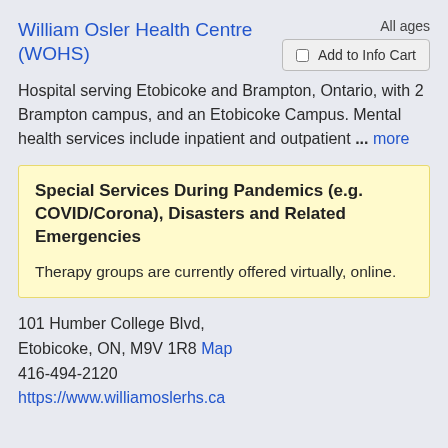William Osler Health Centre (WOHS)
All ages
Add to Info Cart
Hospital serving Etobicoke and Brampton, Ontario, with 2 Brampton campus, and an Etobicoke Campus. Mental health services include inpatient and outpatient ... more
Special Services During Pandemics (e.g. COVID/Corona), Disasters and Related Emergencies
Therapy groups are currently offered virtually, online.
101 Humber College Blvd, Etobicoke, ON, M9V 1R8 Map
416-494-2120
https://www.williamoslerhs.ca